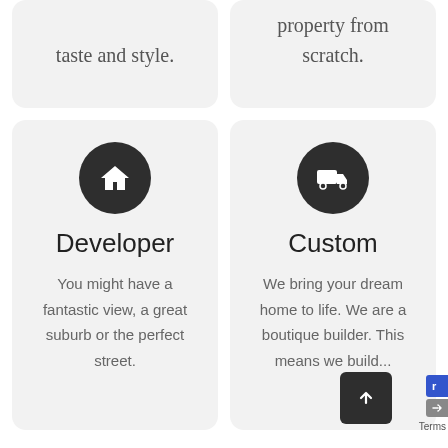taste and style.
property from scratch.
[Figure (illustration): Dark circle icon with white house/home symbol]
Developer
You might have a fantastic view, a great suburb or the perfect street.
[Figure (illustration): Dark circle icon with white delivery truck symbol]
Custom
We bring your dream home to life. We are a boutique builder. This means we build...